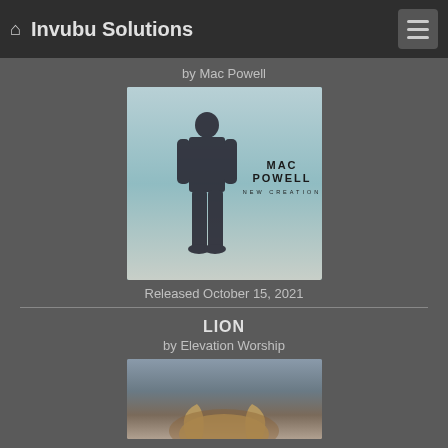Invubu Solutions
by Mac Powell
[Figure (photo): Album cover for 'New Creation' by Mac Powell, showing a man standing against a light blue-green background with the text MAC POWELL NEW CREATION]
Released October 15, 2021
LION
by Elevation Worship
[Figure (photo): Album cover for 'Lion' by Elevation Worship, partially visible showing what appears to be a lion]